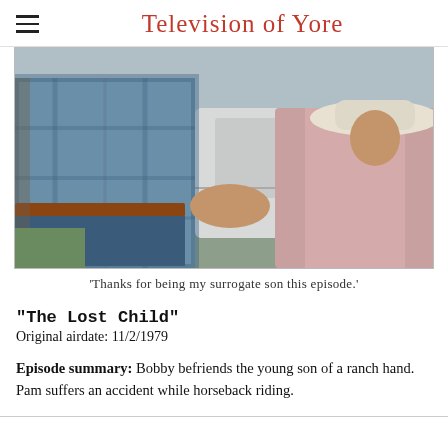Television of Yore
[Figure (photo): Two people shaking hands in a parking lot. One person on the left wears a blue plaid shirt and jeans with a belt. The other on the right wears a light pink shirt and a white cowboy hat. A white car is visible in the background.]
'Thanks for being my surrogate son this episode.'
"The Lost Child"
Original airdate: 11/2/1979
Episode summary: Bobby befriends the young son of a ranch hand. Pam suffers an accident while horseback riding.